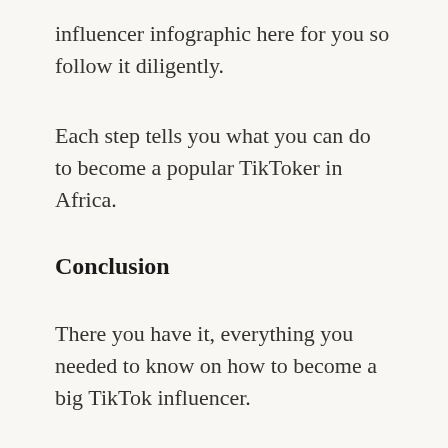influencer infographic here for you so follow it diligently.
Each step tells you what you can do to become a popular TikToker in Africa.
Conclusion
There you have it, everything you needed to know on how to become a big TikTok influencer.